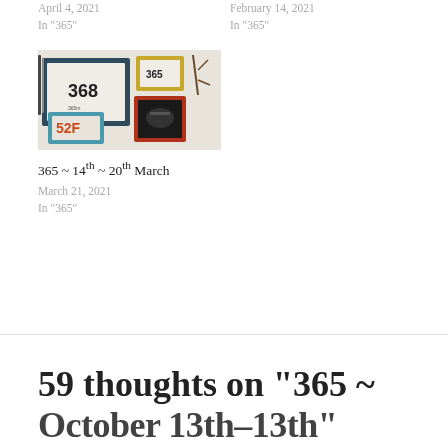April 4, 2021
In "365"
February 14, 2021
In "365"
[Figure (photo): Several picture frames on a wall showing numbers 368, 365, 52F and other frames with objects]
365 ~ 14th ~ 20th March
March 21, 2021
In "365"
59 thoughts on “365 ~